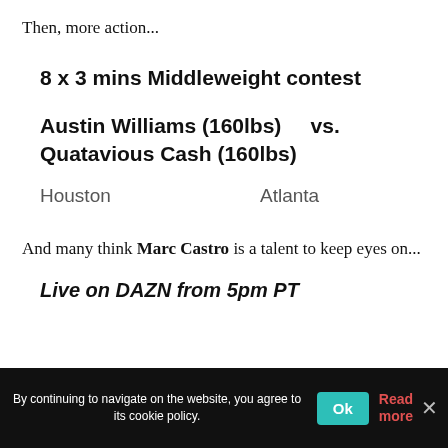Then, more action...
8 x 3 mins Middleweight contest
Austin Williams (160lbs)    vs. Quatavious Cash (160lbs)
Houston                                   Atlanta
And many think Marc Castro is a talent to keep eyes on...
Live on DAZN from 5pm PT
By continuing to navigate on the website, you agree to its cookie policy.